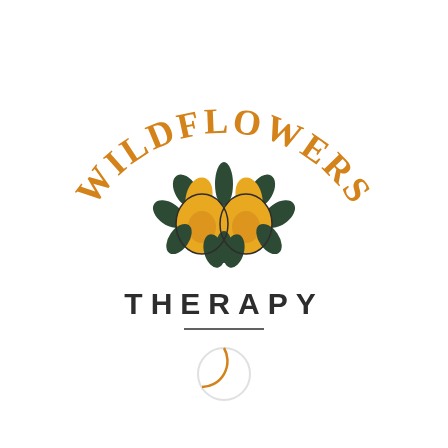[Figure (logo): Wildflowers Therapy logo: arched orange text 'WILDFLOWERS' above two golden/yellow flower blooms with dark green leaves, bold dark text 'THERAPY' below, a short horizontal rule, and a partial circle outline at the bottom]